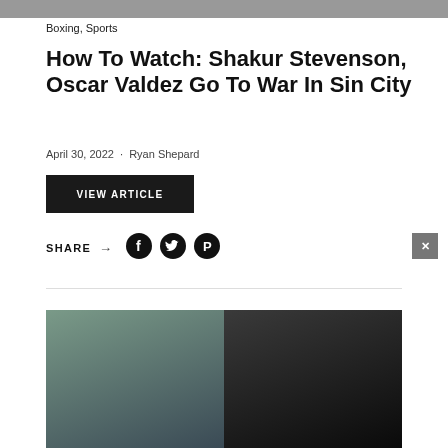[Figure (photo): Top cropped photo strip showing two boxers]
Boxing, Sports
How To Watch: Shakur Stevenson, Oscar Valdez Go To War In Sin City
April 30, 2022  ·  Ryan Shepard
VIEW ARTICLE
SHARE → (Facebook, Twitter, Pinterest icons)
[Figure (photo): Side-by-side photo of Shakur Stevenson and Oscar Valdez]